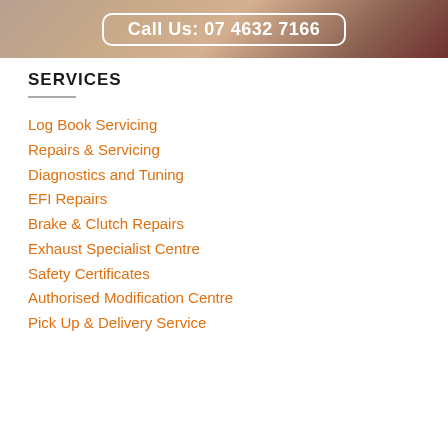[Figure (photo): Hero banner image with blurred automotive background and a rounded rectangle call-to-action button with text 'Call Us: 07 4632 7166' in white on a warm blurred background.]
SERVICES
Log Book Servicing
Repairs & Servicing
Diagnostics and Tuning
EFI Repairs
Brake & Clutch Repairs
Exhaust Specialist Centre
Safety Certificates
Authorised Modification Centre
Pick Up & Delivery Service